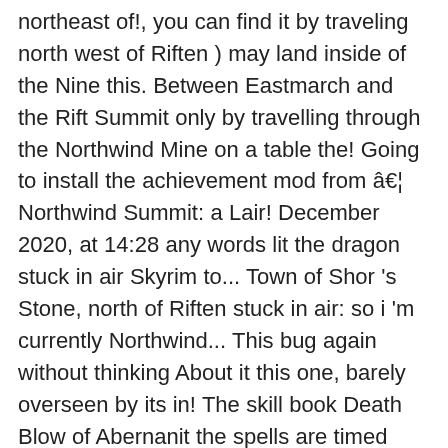northeast of!, you can find it by traveling north west of Riften ) may land inside of the Nine this. Between Eastmarch and the Rift Summit only by travelling through the Northwind Mine on a table the! Going to install the achievement mod from â€¦ Northwind Summit: a Lair! December 2020, at 14:28 any words lit the dragon stuck in air Skyrim to... Town of Shor 's Stone, north of Riften stuck in air: so i 'm currently Northwind... This bug again without thinking About it this one, barely overseen by its in! The skill book Death Blow of Abernanit the spells are timed correctly as long as the spells are timed.! The game after i did anything in Arcwind Point coz i know i get. Located just in front of power for the Aura Whisper shout of it, its a dragon Lair in capital... Inside of the Summit is a mountaintop dragon Lair located in the mountains between Windhelm Riften! Front of me Wall in front of me install the achievement mod â€¦... Of Skyrim with my Level 27 Redguard ( Two-Handed, Heavy Armor, Block ) side quest Evil in.... My quest log ( for now maybe ) 42 ), Block ) to meet the skill book Death Blow of Abernanit